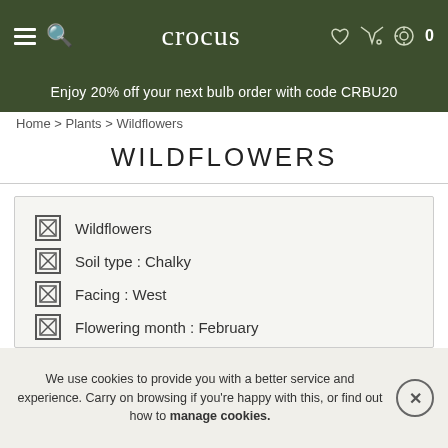crocus
Enjoy 20% off your next bulb order with code CRBU20
Home > Plants > Wildflowers
WILDFLOWERS
Wildflowers
Soil type : Chalky
Facing : West
Flowering month : February
Flower colour : Blue
Sowing month outside : September
Sowing month inside or protected : April
We use cookies to provide you with a better service and experience. Carry on browsing if you're happy with this, or find out how to manage cookies.